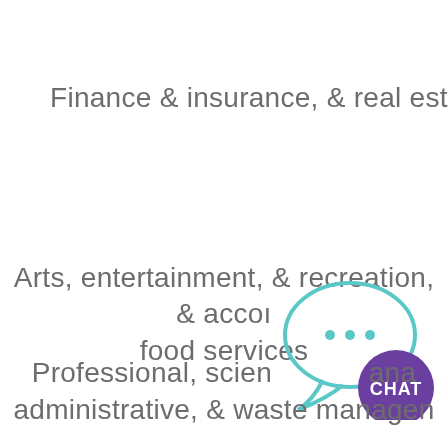Finance & insurance, & real estate, & ren
Arts, entertainment, & recreation, & accon food services
[Figure (illustration): Chat bubble icon with three dots and a purple circle with CHAT text]
Professional, scien ana administrative, & waste managen